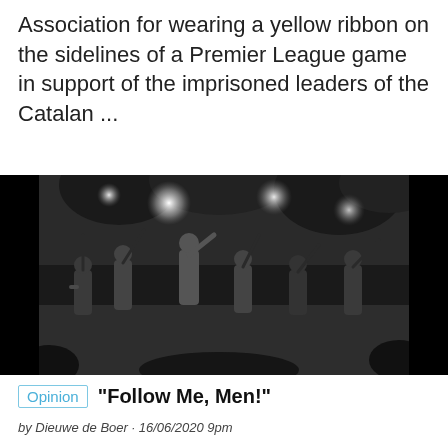Association for wearing a yellow ribbon on the sidelines of a Premier League game in support of the imprisoned leaders of the Catalan ...
[Figure (illustration): Black and white historical illustration of soldiers in a battle scene, appearing to be from a colonial-era conflict, with troops advancing through jungle or dense vegetation with bright light flashes.]
Opinion  "Follow Me, Men!"
by Dieuwe de Boer · 16/06/2020 9pm
Those were the last words of Captain John Fane Charles Hamilton as he jumped into the fray to support a wavering force trapped in an ambush at